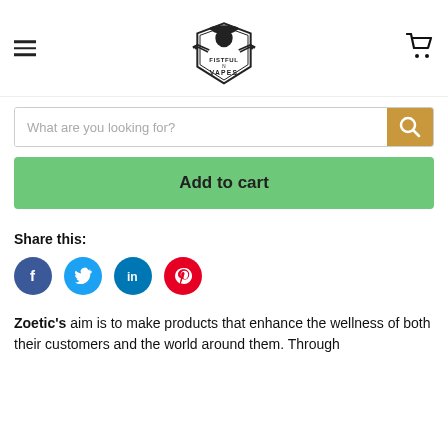Fistful Vapes – navigation header with logo, hamburger menu, and cart icon
[Figure (logo): Fistful Vapes logo: cowboy with pistols and shield badge]
What are you looking for?
Add to cart
Share this:
[Figure (infographic): Social sharing icons: Facebook, Twitter, LinkedIn, Pinterest]
Zoetic's aim is to make products that enhance the wellness of both their customers and the world around them. Through